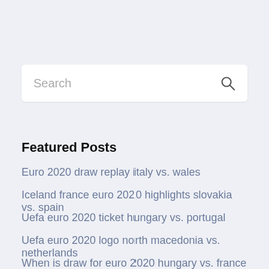[Figure (other): Search bar with placeholder text 'Search' and a magnifying glass icon on the right]
Featured Posts
Euro 2020 draw replay italy vs. wales
Iceland france euro 2020 highlights slovakia vs. spain
Uefa euro 2020 ticket hungary vs. portugal
Uefa euro 2020 logo north macedonia vs. netherlands
When is draw for euro 2020 hungary vs. france
Reddit 2020 soccer euro cup usa france vs. germany